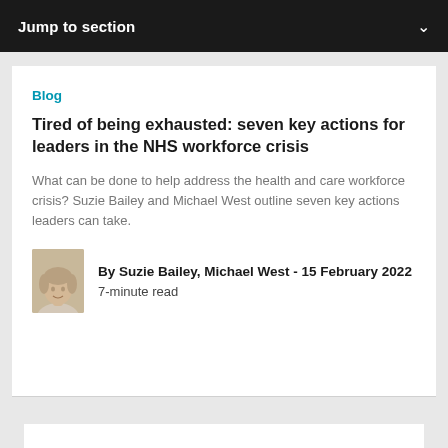Jump to section
Blog
Tired of being exhausted: seven key actions for leaders in the NHS workforce crisis
What can be done to help address the health and care workforce crisis? Suzie Bailey and Michael West outline seven key actions leaders can take.
By Suzie Bailey, Michael West - 15 February 2022
7-minute read
Course
An introduction to leading with kindness and compassion in health and social care